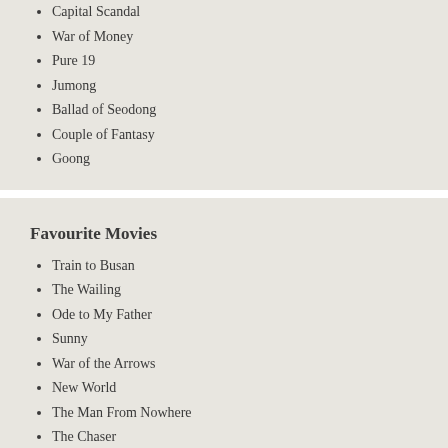Capital Scandal
War of Money
Pure 19
Jumong
Ballad of Seodong
Couple of Fantasy
Goong
Favourite Movies
Train to Busan
The Wailing
Ode to My Father
Sunny
War of the Arrows
New World
The Man From Nowhere
The Chaser
Scandal Makers
200 Pounds Beauty
A Moment to Remember
Daisy